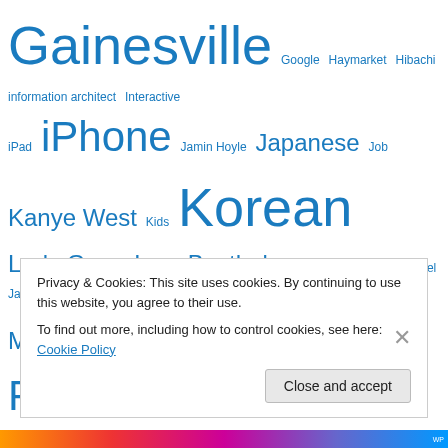[Figure (infographic): Tag cloud with words of varying sizes in blue, including: Gainesville, Google, Haymarket, Hibachi, information architect, Interactive, iPad, iPhone, Jamin Hoyle, Japanese, Job, Kanye West, Kids, Korean, Lady Gaga, Lars Bastholm, Manny Pacquiao, Michael Jackson, Mobile, Movie, New Moon, Nike, Obama, Ogilvy, Piano, President Obama, QR code, Quote, Razorfish, Rihanna, Robert Pattinson, Social Media, Song, Student Loans, Sushi, Toddler, Tori Amos, TV, Tweets, Twilight, Twitter, VA, Video, Virginia, website, Wedding, Wordpress, YouTube]
Privacy & Cookies: This site uses cookies. By continuing to use this website, you agree to their use. To find out more, including how to control cookies, see here: Cookie Policy
Close and accept